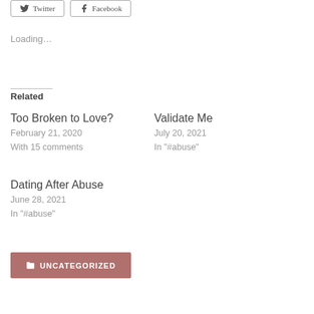[Figure (other): Social sharing buttons for Twitter and Facebook]
Loading...
Related
Too Broken to Love?
February 21, 2020
With 15 comments
Validate Me
July 20, 2021
In "#abuse"
Dating After Abuse
June 28, 2021
In "#abuse"
UNCATEGORIZED